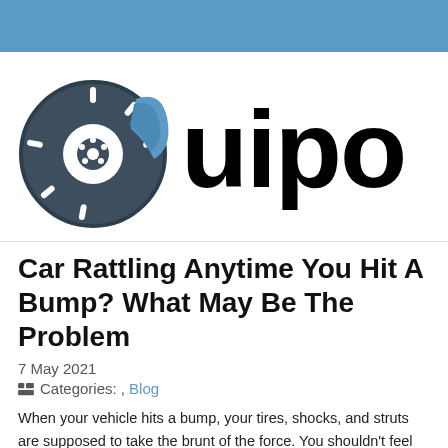[Figure (logo): Blue header bar at top of webpage]
[Figure (logo): Brake disc icon logo with dark circle, blue caliper, and white line details next to large text 'uipo' partially visible]
Car Rattling Anytime You Hit A Bump? What May Be The Problem
7 May 2021
Categories: , Blog
When your vehicle hits a bump, your tires, shocks, and struts are supposed to take the brunt of the force. You shouldn't feel that